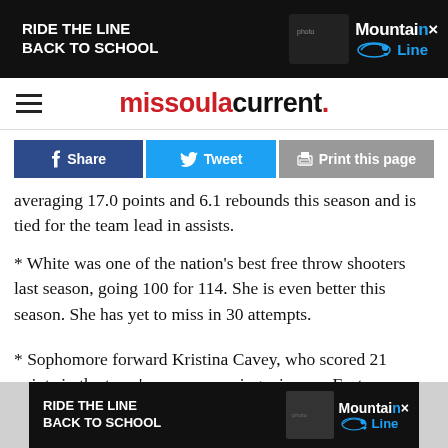[Figure (other): Mountain Line transit ad banner - 'RIDE THE LINE BACK TO SCHOOL' with Mountain Line logo and photo]
missoula current.
[Figure (other): Social sharing buttons: Share, Tweet, Print this page]
averaging 17.0 points and 6.1 rebounds this season and is tied for the team lead in assists.
* White was one of the nation's best free throw shooters last season, going 100 for 114. She is even better this season. She has yet to miss in 30 attempts.
* Sophomore forward Kristina Cavey, who scored 21 points in the team's season-opening win over Eastern Washington, hasn't played since the season's third game because of a
[Figure (other): Mountain Line transit ad banner - 'RIDE THE LINE BACK TO SCHOOL' with Mountain Line logo and photo (bottom)]